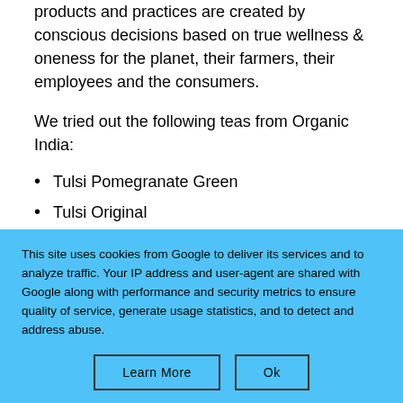products and practices are created by conscious decisions based on true wellness & oneness for the planet, their farmers, their employees and the consumers.
We tried out the following teas from Organic India:
Tulsi Pomegranate Green
Tulsi Original
Tulsi Lemon Ginger
Tulsi Brahmi
This site uses cookies from Google to deliver its services and to analyze traffic. Your IP address and user-agent are shared with Google along with performance and security metrics to ensure quality of service, generate usage statistics, and to detect and address abuse.